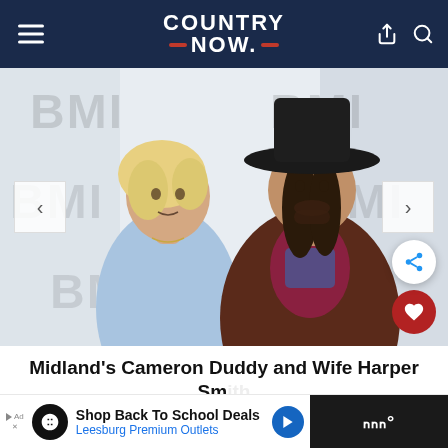COUNTRY NOW
[Figure (photo): A woman with short blonde hair wearing a light blue blazer and a man with long dark hair wearing a wide-brimmed black hat and brown leather jacket, standing in front of a BMI branded backdrop.]
Midland's Cameron Duddy and Wife Harper Smith Welcome Second Child
Shop Back To School Deals Leesburg Premium Outlets